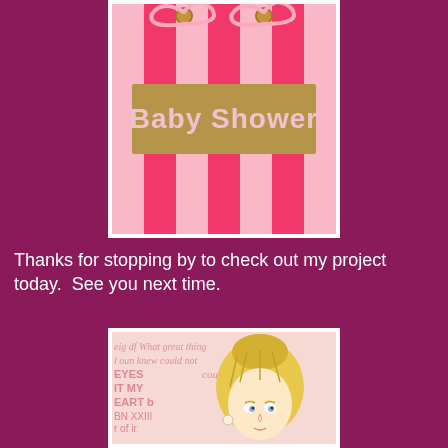[Figure (photo): Pink striped gift bag with 'Baby Shower' text on a gold/tan label in the center, with a pink ribbon tied at the top]
Thanks for stopping by to check out my project today.  See you next time.
[Figure (illustration): An illustrated cartoon-style blonde girl/fairy with text written in cursive script in the background reading scriptural or inspirational phrases including 'What great things', 'EYES', 'IT MY', 'EART b', 'our life', 'ur he', 'us']